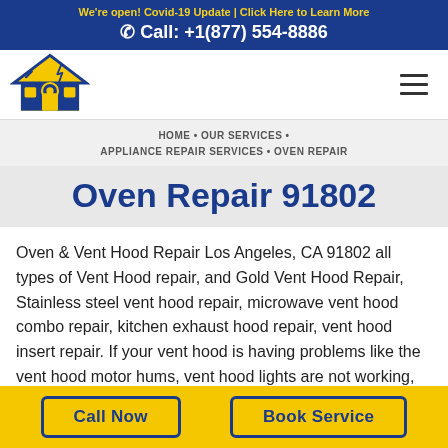We're open! Covid-19 Update | Click Here to Learn More
Call: +1(877) 554-8886
[Figure (logo): House-shaped logo with tools and appliance icons in blue and yellow]
HOME • OUR SERVICES • APPLIANCE REPAIR SERVICES • OVEN REPAIR
Oven Repair 91802
Oven & Vent Hood Repair Los Angeles, CA 91802 all types of Vent Hood repair, and Gold Vent Hood Repair, Stainless steel vent hood repair, microwave vent hood combo repair, kitchen exhaust hood repair, vent hood insert repair. If your vent hood is having problems like the vent hood motor hums, vent hood lights are not working, the vent hood
Call Now
Book Service